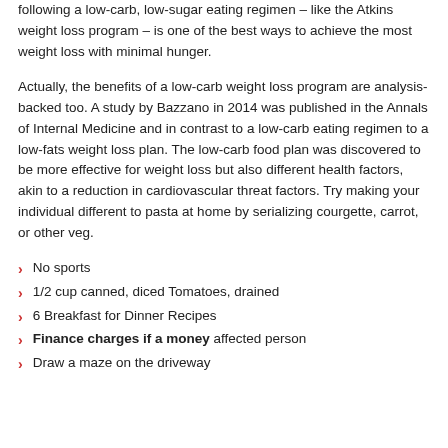following a low-carb, low-sugar eating regimen – like the Atkins weight loss program – is one of the best ways to achieve the most weight loss with minimal hunger.
Actually, the benefits of a low-carb weight loss program are analysis-backed too. A study by Bazzano in 2014 was published in the Annals of Internal Medicine and in contrast to a low-carb eating regimen to a low-fats weight loss plan. The low-carb food plan was discovered to be more effective for weight loss but also different health factors, akin to a reduction in cardiovascular threat factors. Try making your individual different to pasta at home by serializing courgette, carrot, or other veg.
No sports
1/2 cup canned, diced Tomatoes, drained
6 Breakfast for Dinner Recipes
Finance charges if a money affected person
Draw a maze on the driveway